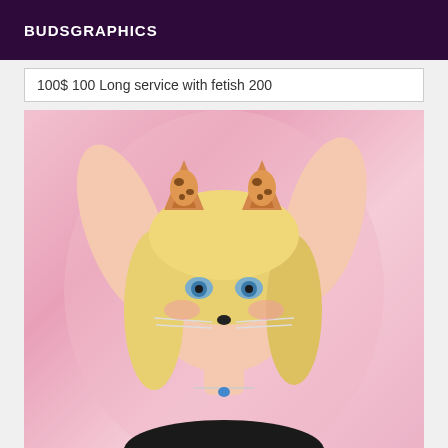BUDSGRAPHICS
100$ 100 Long service with fetish 200
[Figure (photo): A blonde woman with a cat/leopard ear filter and whiskers overlay from a photo app, posed against a pink background wearing black clothing.]